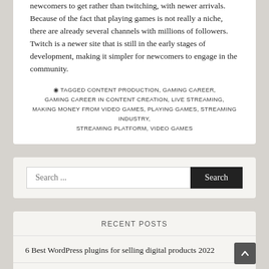newcomers to get rather than twitching, with newer arrivals. Because of the fact that playing games is not really a niche, there are already several channels with millions of followers. Twitch is a newer site that is still in the early stages of development, making it simpler for newcomers to engage in the community.
TAGGED CONTENT PRODUCTION, GAMING CAREER, GAMING CAREER IN CONTENT CREATION, LIVE STREAMING, MAKING MONEY FROM VIDEO GAMES, PLAYING GAMES, STREAMING INDUSTRY, STREAMING PLATFORM, VIDEO GAMES
Search ...
RECENT POSTS
6 Best WordPress plugins for selling digital products 2022
Top 12 eCommerce Website Developers Malaysia For 2022